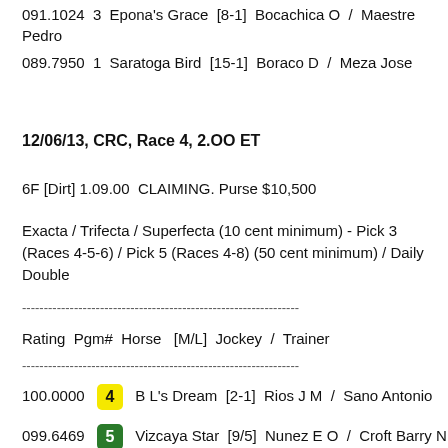091.1024  3  Epona's Grace  [8-1]  Bocachica O  /  Maestre Pedro
089.7950  1  Saratoga Bird  [15-1]  Boraco D  /  Meza Jose
12/06/13, CRC, Race 4, 2.00 ET
6F [Dirt] 1.09.00  CLAIMING. Purse $10,500
Exacta / Trifecta / Superfecta (10 cent minimum) - Pick 3 (Races 4-5-6) / Pick 5 (Races 4-8) (50 cent minimum) / Daily Double
----------------------------------------------------------------
Rating  Pgm#  Horse  [M/L]  Jockey  /  Trainer
----------------------------------------------------------------
100.0000  4  B L's Dream  [2-1]  Rios J M  /  Sano Antonio
099.6469  5  Vizcaya Star  [9/5]  Nunez E O  /  Croft Barry N.